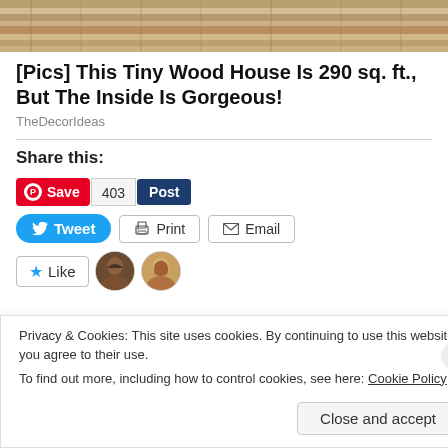[Figure (photo): Top portion of a photo showing stacked lumber/wood planks in an outdoor setting]
[Pics] This Tiny Wood House Is 290 sq. ft., But The Inside Is Gorgeous!
TheDecorIdeas
Share this:
[Figure (screenshot): Social share buttons: Pinterest Save button with 403 count and Post button; Tweet, Print, Email buttons; Like button with two avatars]
Privacy & Cookies: This site uses cookies. By continuing to use this website, you agree to their use.
To find out more, including how to control cookies, see here: Cookie Policy
Close and accept